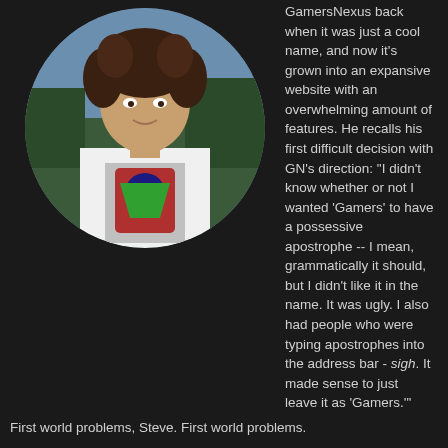[Figure (photo): Circular cropped photo of a young man with curly dark hair wearing a white graphic t-shirt, standing outdoors with trees and sky in the background. A vertical text watermark is visible on the right edge of the circle.]
GamersNexus back when it was just a cool name, and now it's grown into an expansive website with an overwhelming amount of features. He recalls his first difficult decision with GN's direction: "I didn't know whether or not I wanted 'Gamers' to have a possessive apostrophe -- I mean, grammatically it should, but I didn't like it in the name. It was ugly. I also had people who were typing apostrophes into the address bar - sigh. It made sense to just leave it as 'Gamers.'"
First world problems, Steve. First world problems.